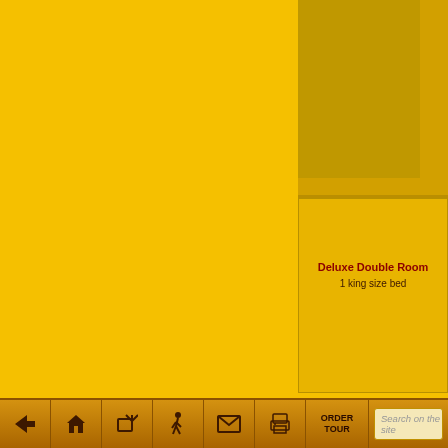[Figure (screenshot): Hotel room booking webpage with yellow/golden background, showing a Deluxe Double Room card with room image placeholder on right panel]
Deluxe Double Room
1 king size bed
Room price includes
- Breakfast;
- Wi-Fi in the entire ho
- Free private parking
ORDER TOUR  Search on the site